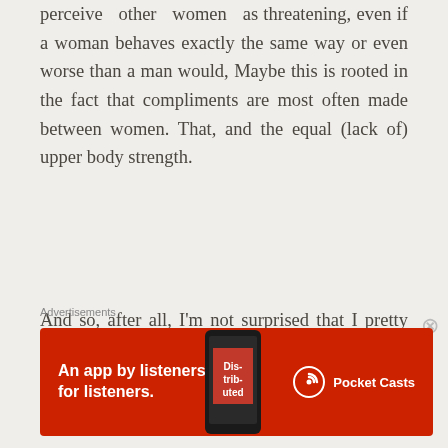perceive other women as threatening, even if a woman behaves exactly the same way or even worse than a man would, Maybe this is rooted in the fact that compliments are most often made between women. That, and the equal (lack of) upper body strength.
And so, after all, I'm not surprised that I pretty much enjoyed having my ass pinched by another woman. I did think of it as a compliment. Besides, women can be incredibly critical of their bodies. So when…
Advertisements
[Figure (other): Red advertisement banner for Pocket Casts app: 'An app by listeners, for listeners.' with phone image showing 'Distributed' text and Pocket Casts logo]